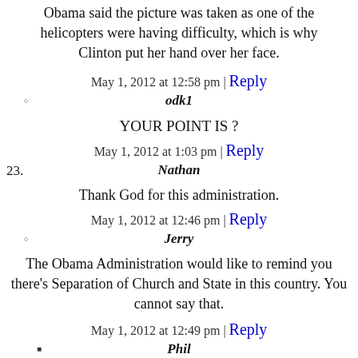Obama said the picture was taken as one of the helicopters were having difficulty, which is why Clinton put her hand over her face.
May 1, 2012 at 12:58 pm | Reply
odk1
YOUR POINT IS ?
May 1, 2012 at 1:03 pm | Reply
Nathan
Thank God for this administration.
May 1, 2012 at 12:46 pm | Reply
Jerry
The Obama Administration would like to remind you there's Separation of Church and State in this country. You cannot say that.
May 1, 2012 at 12:49 pm | Reply
Phil
And that's a damngood thing, too.